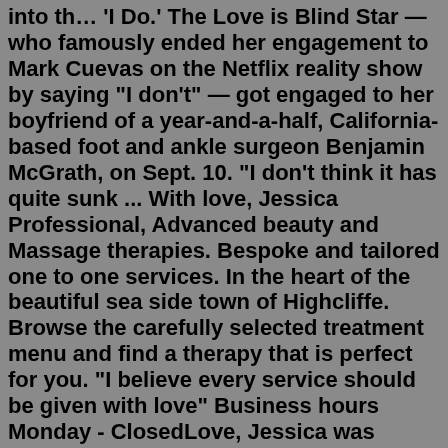into th… 'I Do.' The Love is Blind Star — who famously ended her engagement to Mark Cuevas on the Netflix reality show by saying "I don't" — got engaged to her boyfriend of a year-and-a-half, California-based foot and ankle surgeon Benjamin McGrath, on Sept. 10. "I don't think it has quite sunk ... With love, Jessica Professional, Advanced beauty and Massage therapies. Bespoke and tailored one to one services. In the heart of the beautiful sea side town of Highcliffe. Browse the carefully selected treatment menu and find a therapy that is perfect for you. "I believe every service should be given with love" Business hours Monday - ClosedLove, Jessica was founded by Jennifer Jara, in honor of her first daughter, Jessica Lupita Jara, who was stillborn at 27 weeks gestation on July 1st 2014. The Organization launched on 7/1/2020, on baby Jessica's 6th Heavenly birthday! Learn More 2nd Annual 'Race For A Cause' 5k + 1k Kids Dash Taking steps for those who never did.Jessica Love is the author and illustrator of the critically acclaimed picture book, Julián is a